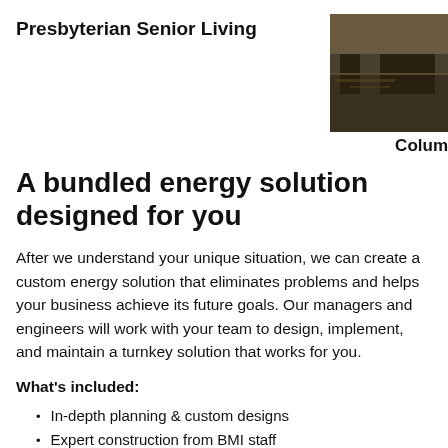Presbyterian Senior Living
[Figure (photo): Outdoor photo, dark tones, trees/building visible]
Colum
A bundled energy solution designed for you
After we understand your unique situation, we can create a custom energy solution that eliminates problems and helps your business achieve its future goals. Our managers and engineers will work with your team to design, implement, and maintain a turnkey solution that works for you.
What's included:
In-depth planning & custom designs
Expert construction from BMI staff
Utilization of available rebates & tax incentives